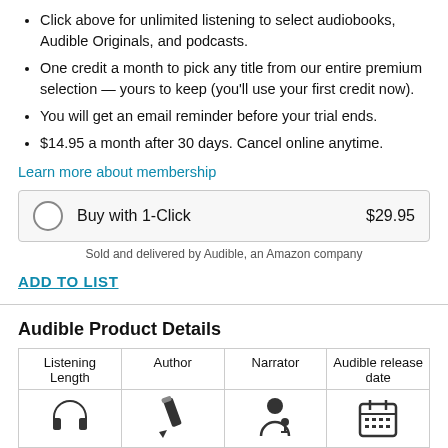Click above for unlimited listening to select audiobooks, Audible Originals, and podcasts.
One credit a month to pick any title from our entire premium selection — yours to keep (you'll use your first credit now).
You will get an email reminder before your trial ends.
$14.95 a month after 30 days. Cancel online anytime.
Learn more about membership
Buy with 1-Click  $29.95
Sold and delivered by Audible, an Amazon company
ADD TO LIST
Audible Product Details
| Listening Length | Author | Narrator | Audible release date |
| --- | --- | --- | --- |
| [headphones icon] | [pencil icon] | [narrator icon] | [calendar icon] |